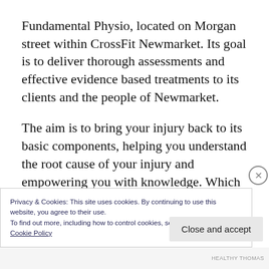Fundamental Physio, located on Morgan street within CrossFit Newmarket. Its goal is to deliver thorough assessments and effective evidence based treatments to its clients and the people of Newmarket.
The aim is to bring your injury back to its basic components, helping you understand the root cause of your injury and empowering you with knowledge. Which will put you in control of your problems
Privacy & Cookies: This site uses cookies. By continuing to use this website, you agree to their use.
To find out more, including how to control cookies, see here:
Cookie Policy
Close and accept